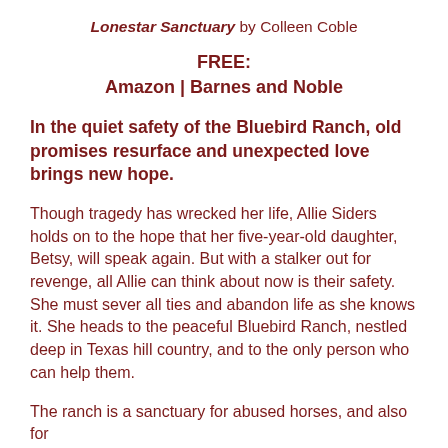Lonestar Sanctuary by Colleen Coble
FREE:
Amazon | Barnes and Noble
In the quiet safety of the Bluebird Ranch, old promises resurface and unexpected love brings new hope.
Though tragedy has wrecked her life, Allie Siders holds on to the hope that her five-year-old daughter, Betsy, will speak again. But with a stalker out for revenge, all Allie can think about now is their safety. She must sever all ties and abandon life as she knows it. She heads to the peaceful Bluebird Ranch, nestled deep in Texas hill country, and to the only person who can help them.
The ranch is a sanctuary for abused horses, and also for